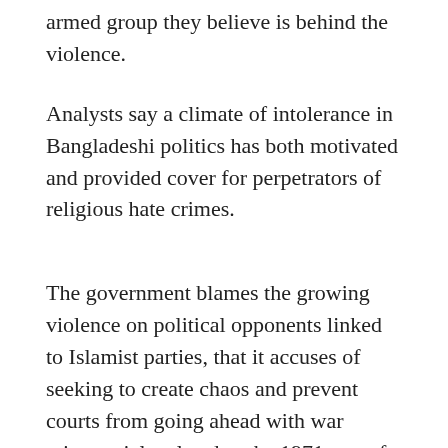…armed group they believe is behind the violence.
Analysts say a climate of intolerance in Bangladeshi politics has both motivated and provided cover for perpetrators of religious hate crimes.
The government blames the growing violence on political opponents linked to Islamist parties, that it accuses of seeking to create chaos and prevent courts from going ahead with war crimes trials related to the 1971 war of independence.
The opposition party denies the accusations.